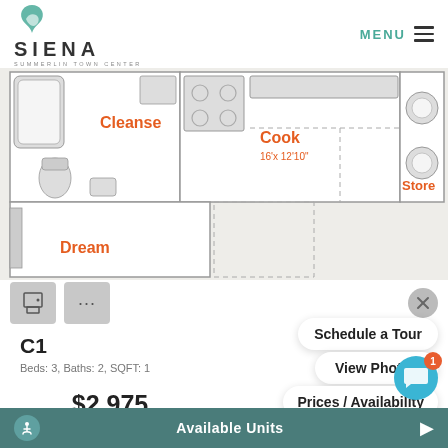[Figure (logo): Siena Summerlin Town Center logo with teal S icon]
[Figure (other): Apartment floor plan showing rooms labeled Cleanse, Cook (16'x 12'10"), Store, Dream]
[Figure (other): Print icon button and ellipsis (...) button in gray squares; close (X) button in gray circle]
C1
Beds: 3, Baths: 2, SQFT: 1
Schedule a Tour
View Photos
Prices / Availability
$2,975
Available Units